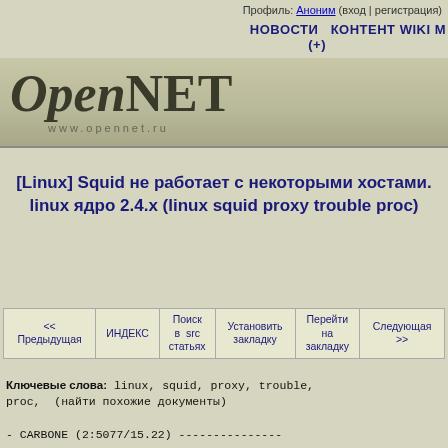Профиль: Аноним (вход | регистрация)
НОВОСТИ (+) КОНТЕНТ WIKI М
[Figure (logo): OpenNET logo with www.opennet.ru URL]
[Linux] Squid не работает с некоторыми хостами. linux ядро 2.4.x (linux squid proxy trouble proc)
| << Предыдущая | ИНДЕКС | Поиск в src статьях | Установить закладку | Перейти на закладку | Следующая >> |
| --- | --- | --- | --- | --- | --- |
Ключевые слова: linux, squid, proxy, trouble, proc,  (найти похожие документы)
- CARBONE (2:5077/15.22) ---------------